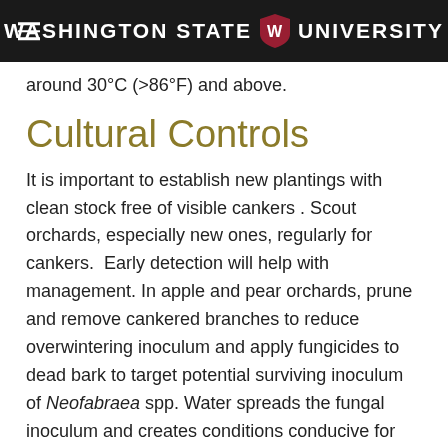Washington State University
around 30°C (>86°F) and above.
Cultural Controls
It is important to establish new plantings with clean stock free of visible cankers . Scout orchards, especially new ones, regularly for cankers.  Early detection will help with management. In apple and pear orchards, prune and remove cankered branches to reduce overwintering inoculum and apply fungicides to dead bark to target potential surviving inoculum of Neofabraea spp. Water spreads the fungal inoculum and creates conditions conducive for fruit infection. Avoid overhead irrigationand , cycle over-tree cooling so that conditions do not remain wet in the canopy